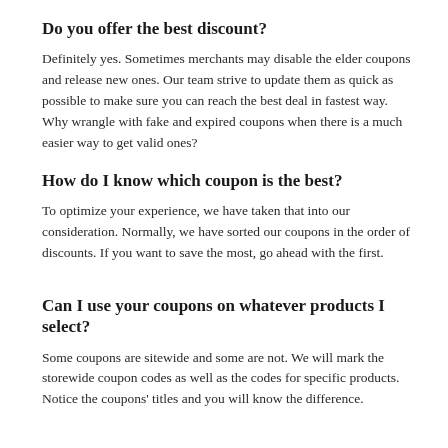Do you offer the best discount?
Definitely yes. Sometimes merchants may disable the elder coupons and release new ones. Our team strive to update them as quick as possible to make sure you can reach the best deal in fastest way. Why wrangle with fake and expired coupons when there is a much easier way to get valid ones?
How do I know which coupon is the best?
To optimize your experience, we have taken that into our consideration. Normally, we have sorted our coupons in the order of discounts. If you want to save the most, go ahead with the first.
Can I use your coupons on whatever products I select?
Some coupons are sitewide and some are not. We will mark the storewide coupon codes as well as the codes for specific products. Notice the coupons' titles and you will know the difference.